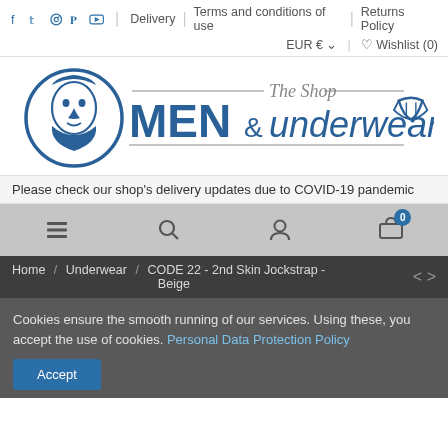f | twitter | instagram | pinterest | youtube | Delivery | Terms and conditions of use | Returns Policy | EUR € ∨ | ♡ Wishlist (0)
[Figure (logo): Men & underwear The Shop logo with bearded man face and underwear icon]
Please check our shop's delivery updates due to COVID-19 pandemic
[Figure (other): Mobile navigation bar with menu, search, account, and cart (0) icons]
Home / Underwear / CODE 22 - 2nd Skin Jockstrap - Beige
Cookies ensure the smooth running of our services. Using these, you accept the use of cookies. Personal Data Protection Policy
Accept